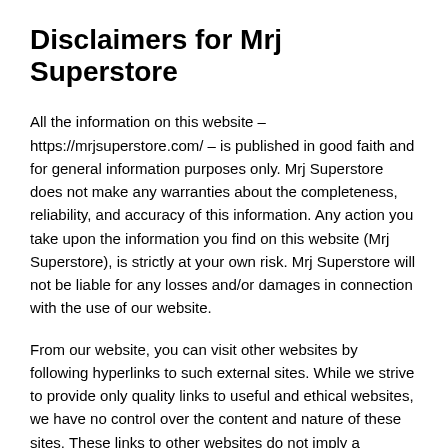Disclaimers for Mrj Superstore
All the information on this website – https://mrjsuperstore.com/ – is published in good faith and for general information purposes only. Mrj Superstore does not make any warranties about the completeness, reliability, and accuracy of this information. Any action you take upon the information you find on this website (Mrj Superstore), is strictly at your own risk. Mrj Superstore will not be liable for any losses and/or damages in connection with the use of our website.
From our website, you can visit other websites by following hyperlinks to such external sites. While we strive to provide only quality links to useful and ethical websites, we have no control over the content and nature of these sites. These links to other websites do not imply a recommendation for all the content found on these sites. Site owners and content may